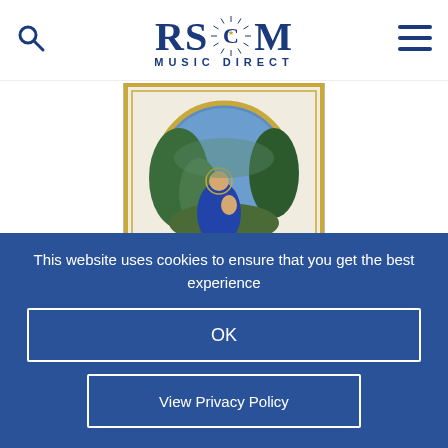RSCM Music Direct
[Figure (photo): Book cover with circular painting of Madonna and Child in a landscape, gold border, edited by Anthony G. Petti, published by Chester Music]
This website uses cookies to ensure that you get the best experience
OK
View Privacy Policy